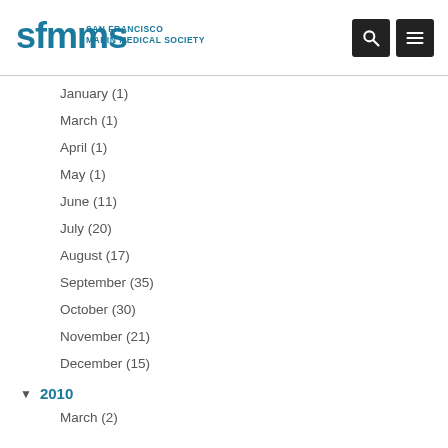[Figure (logo): SFMMS San Francisco Marin Medical Society logo]
January (1)
March (1)
April (1)
May (1)
June (11)
July (20)
August (17)
September (35)
October (30)
November (21)
December (15)
2010
March (2)